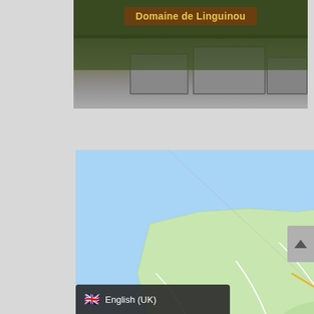[Figure (photo): Photo of Domaine de Linguinou sign on a wooden plank with stone steps/wall in background, green vegetation visible]
[Figure (map): Google Maps screenshot showing Brittany region of northwestern France with cities: Perros-Guirec, Paimpol (partial), Lannion, Roscoff, Saint-Pol-de-Léon, Morlaix, Guingamp (partial), Brest, Landerneau, Carhaix-Plouguer, Crozon, Douarnenez, Quimper, Concarneau. Route markers E50 and E60 visible.]
🇬🇧 English (UK)